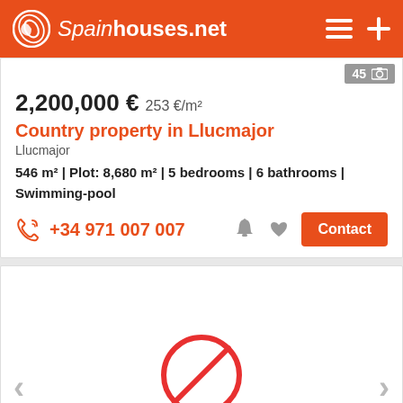Spainhouses.net
45 photos
2,200,000 € 253 €/m²
Country property in Llucmajor
Llucmajor
546 m² | Plot: 8,680 m² | 5 bedrooms | 6 bathrooms | Swimming-pool
+34 971 007 007
[Figure (photo): Image loading error / broken image placeholder with red no-image circle icon, with left and right navigation arrows]